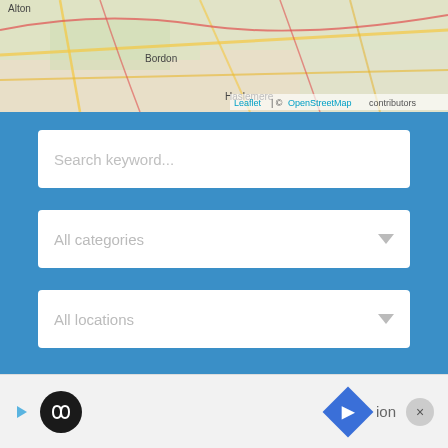[Figure (map): OpenStreetMap tile showing southern England region with towns including Alton, Bordon, Haslemere, East Grinstead, Crawley. Leaflet/OpenStreetMap attribution shown.]
[Figure (screenshot): Blue search panel with a text search box labeled 'Search keyword...', a dropdown labeled 'All categories', a dropdown labeled 'All locations', and a green rounded Search button with magnifying glass icon.]
HAUNTED PLACES IN LALEHAM, SURREY
[Figure (screenshot): Bottom advertisement bar with play icon, circular logo, navigation diamond icon, location text 'ion', and close X button.]